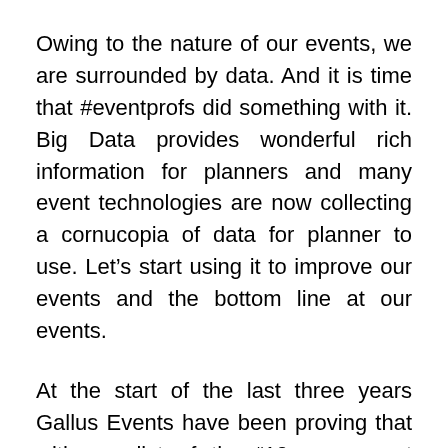Owing to the nature of our events, we are surrounded by data. And it is time that #eventprofs did something with it. Big Data provides wonderful rich information for planners and many event technologies are now collecting a cornucopia of data for planner to use. Let's start using it to improve our events and the bottom line at our events.
At the start of the last three years Gallus Events have been proving that with our list of the “10 new event planner skills” To see how fluid and dynamic the job of an event planner has become.